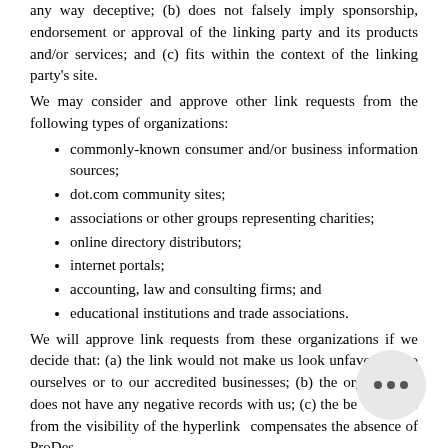any way deceptive; (b) does not falsely imply sponsorship, endorsement or approval of the linking party and its products and/or services; and (c) fits within the context of the linking party's site.
We may consider and approve other link requests from the following types of organizations:
commonly-known consumer and/or business information sources;
dot.com community sites;
associations or other groups representing charities;
online directory distributors;
internet portals;
accounting, law and consulting firms; and
educational institutions and trade associations.
We will approve link requests from these organizations if we decide that: (a) the link would not make us look unfavorably to ourselves or to our accredited businesses; (b) the organization does not have any negative records with us; (c) the benefit to us from the visibility of the hyperlink compensates the absence of ProDes Projects And Design India Private Limited